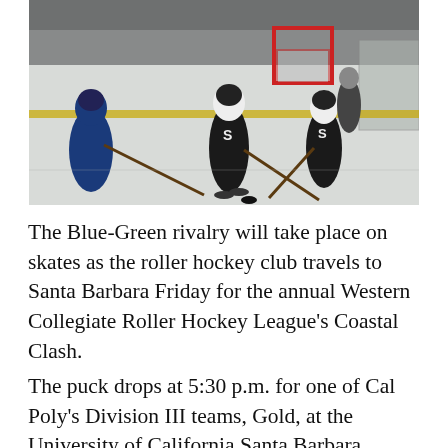[Figure (photo): Hockey players on an indoor roller hockey rink. Two players in black and white uniforms with 'S' on their jerseys appear to be in motion, one player in blue uniform is visible on the left, another player stands near the goal in the background. A red goal net and glass boards are visible.]
The Blue-Green rivalry will take place on skates as the roller hockey club travels to Santa Barbara Friday for the annual Western Collegiate Roller Hockey League's Coastal Clash.
The puck drops at 5:30 p.m. for one of Cal Poly's Division III teams, Gold, at the University of California Santa Barbara